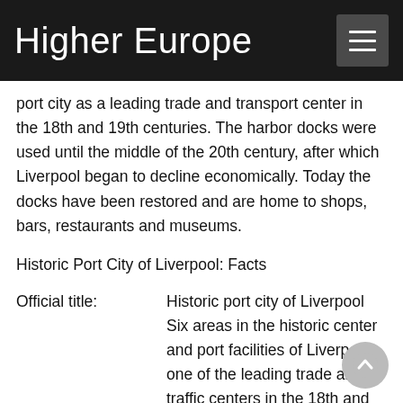Higher Europe
port city as a leading trade and transport center in the 18th and 19th centuries. The harbor docks were used until the middle of the 20th century, after which Liverpool began to decline economically. Today the docks have been restored and are home to shops, bars, restaurants and museums.
Historic Port City of Liverpool: Facts
|  |  |
| --- | --- |
| Official title: | Historic port city of Liverpool
Six areas in the historic center and port facilities of Liverpool; one of the leading trade and traffic centers in the 18th and 19th centuries (including slave trade); many important buildings including St George's Plateau and Albert Dock; |
| Cultural monument: | George's Plateau and Albert Dock; |